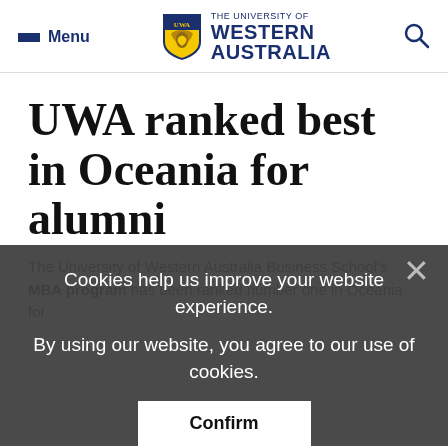Menu | THE UNIVERSITY OF WESTERN AUSTRALIA | [search]
UWA ranked best in Oceania for alumni
Cookies help us improve your website experience.
By using our website, you agree to our use of cookies.
Confirm
The University of Western Australia Business School's MBA program has been ranked number one in Oceania for...